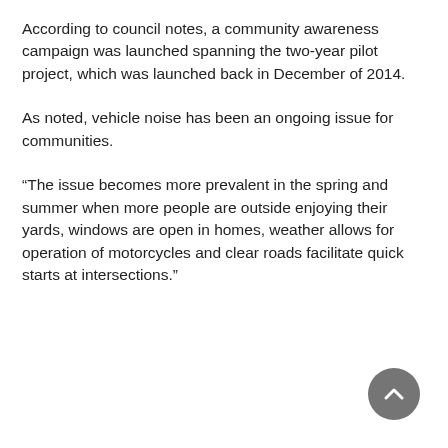According to council notes, a community awareness campaign was launched spanning the two-year pilot project, which was launched back in December of 2014.
As noted, vehicle noise has been an ongoing issue for communities.
“The issue becomes more prevalent in the spring and summer when more people are outside enjoying their yards, windows are open in homes, weather allows for operation of motorcycles and clear roads facilitate quick starts at intersections.”
[Figure (other): A circular grey button with an upward-pointing chevron arrow, used as a scroll-to-top button.]